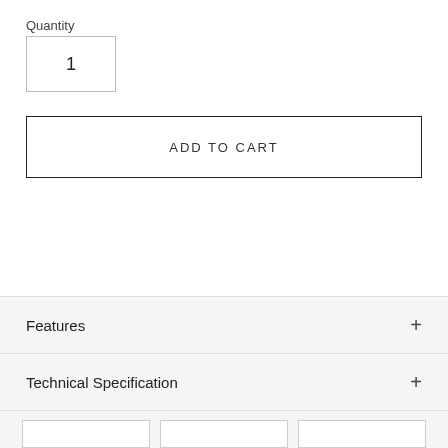Quantity
1
ADD TO CART
Features +
Technical Specification +
Inside the Box +